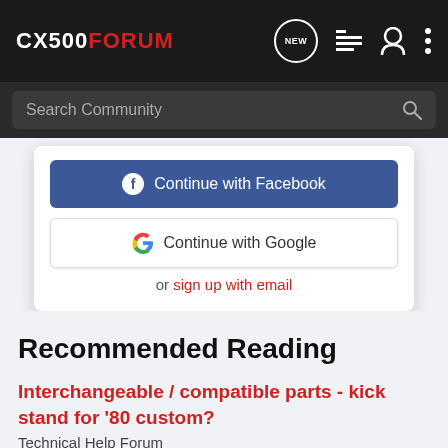CX500FORUM
Search Community
Continue with Facebook
Continue with Google
or sign up with email
Recommended Reading
Interchangeable / compatible parts - kick stand for '80 custom?
Technical Help Forum
5  610